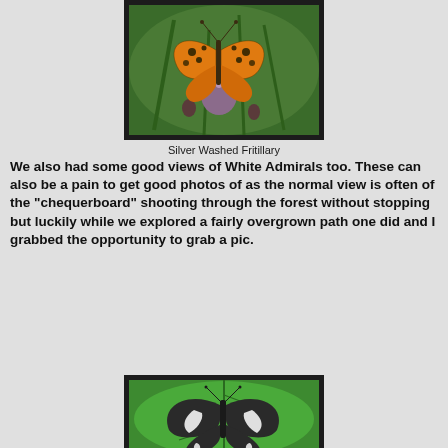[Figure (photo): Photograph of a Silver Washed Fritillary butterfly, orange with black spots, resting on a purple thistle flower with green background]
Silver Washed Fritillary
We also had some good views of White Admirals too. These can also be a pain to get good photos of as the normal view is often of the "chequerboard" shooting through the forest without stopping but luckily while we explored a fairly overgrown path one did and I grabbed the opportunity to grab a pic.
[Figure (photo): Photograph of a White Admiral butterfly, dark brown/black with white stripe markings, resting on a green leaf]